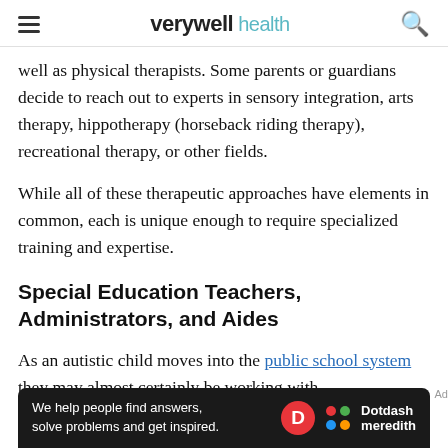verywell health
well as physical therapists. Some parents or guardians decide to reach out to experts in sensory integration, arts therapy, hippotherapy (horseback riding therapy), recreational therapy, or other fields.
While all of these therapeutic approaches have elements in common, each is unique enough to require specialized training and expertise.
Special Education Teachers, Administrators, and Aides
As an autistic child moves into the public school system they may almost certainly be working with
[Figure (other): Dotdash Meredith advertisement banner: 'We help people find answers, solve problems and get inspired.']